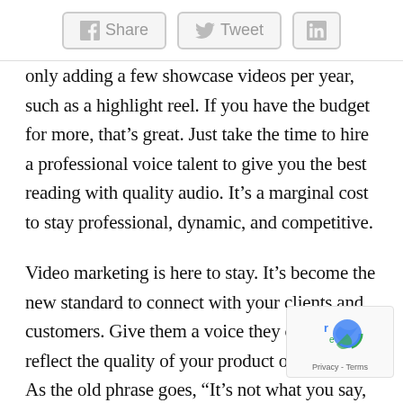Share  Tweet  in
only adding a few showcase videos per year, such as a highlight reel. If you have the budget for more, that’s great. Just take the time to hire a professional voice talent to give you the best reading with quality audio. It’s a marginal cost to stay professional, dynamic, and competitive.
Video marketing is here to stay. It’s become the new standard to connect with your clients and customers. Give them a voice they can trust to reflect the quality of your product or service. As the old phrase goes, “It’s not what you say, but how you say it.” Make sure to say it right with a professional